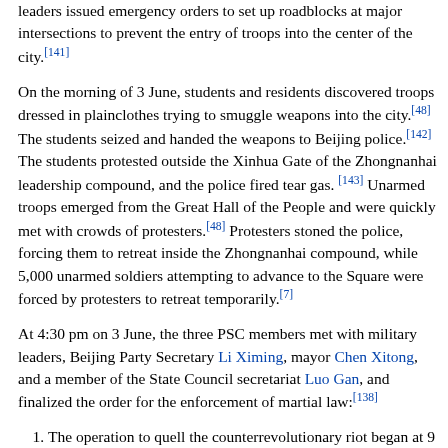leaders issued emergency orders to set up roadblocks at major intersections to prevent the entry of troops into the center of the city.[141]
On the morning of 3 June, students and residents discovered troops dressed in plainclothes trying to smuggle weapons into the city.[48] The students seized and handed the weapons to Beijing police.[142] The students protested outside the Xinhua Gate of the Zhongnanhai leadership compound, and the police fired tear gas.[143] Unarmed troops emerged from the Great Hall of the People and were quickly met with crowds of protesters.[48] Protesters stoned the police, forcing them to retreat inside the Zhongnanhai compound, while 5,000 unarmed soldiers attempting to advance to the Square were forced by protesters to retreat temporarily.[7]
At 4:30 pm on 3 June, the three PSC members met with military leaders, Beijing Party Secretary Li Ximing, mayor Chen Xitong, and a member of the State Council secretariat Luo Gan, and finalized the order for the enforcement of martial law:[138]
The operation to quell the counterrevolutionary riot began at 9 pm.
Military units should converge on the Square by 1 am on June 4, and the Square must be cleared by 6 am.